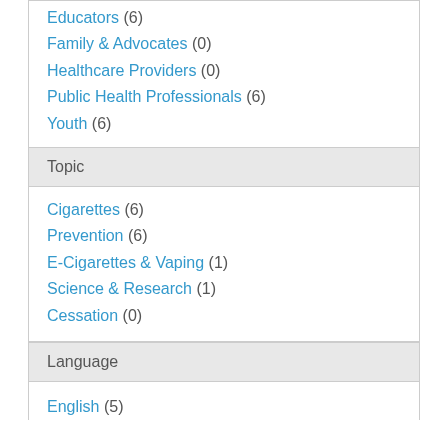Educators (6)
Family & Advocates (0)
Healthcare Providers (0)
Public Health Professionals (6)
Youth (6)
Topic
Cigarettes (6)
Prevention (6)
E-Cigarettes & Vaping (1)
Science & Research (1)
Cessation (0)
Language
English (5)